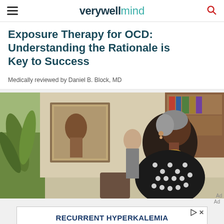verywell mind
Exposure Therapy for OCD: Understanding the Rationale is Key to Success
Medically reviewed by Daniel B. Block, MD
[Figure (photo): Older woman with short grey hair sitting in a room looking contemplatively to the side, wearing a black and white polka dot top, artwork and shelves visible in the background]
Ad
[Figure (infographic): Advertisement banner reading: RECURRENT HYPERKALEMIA CAN BECOME AN ONGOING PROBLEM]